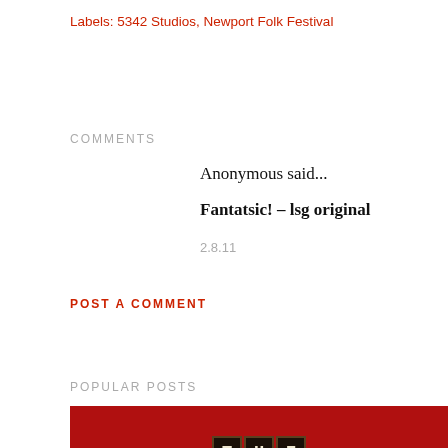Labels: 5342 Studios, Newport Folk Festival
COMMENTS
Anonymous said...
Fantatsic! - lsg original
2.8.11
POST A COMMENT
POPULAR POSTS
[Figure (photo): Red background with letter tiles spelling THE TRAGICALLY HIP]